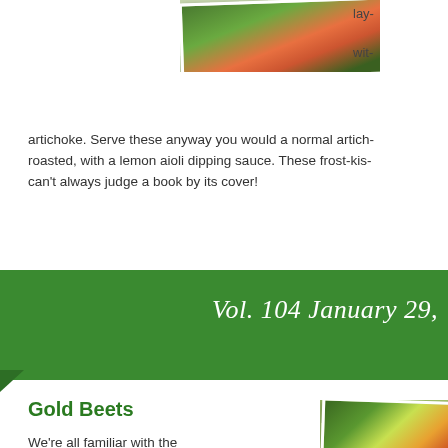[Figure (photo): Photo of vegetables/artichoke at top center]
lay-

wit-
artichoke. Serve these anyway you would a normal artich- roasted, with a lemon aioli dipping sauce. These frost-kis- can't always judge a book by its cover!
Vol. 104 January 29,
Gold Beets
We're all familiar with the classic red beet, but did you know that beets come in a variety of colors such as white, yellow and even gold? The
[Figure (photo): Photo of vegetables basket with beets and greens at bottom right]